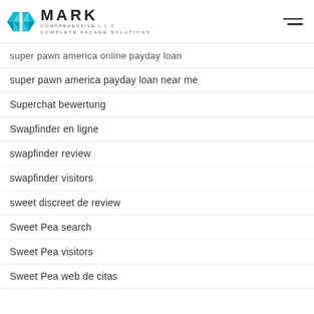MARK COMPREHENSIVE L.L.C — COMPLETE FACADE SOLUTIONS
super pawn america online payday loan
super pawn america payday loan near me
Superchat bewertung
Swapfinder en ligne
swapfinder review
swapfinder visitors
sweet discreet de review
Sweet Pea search
Sweet Pea visitors
Sweet Pea web de citas